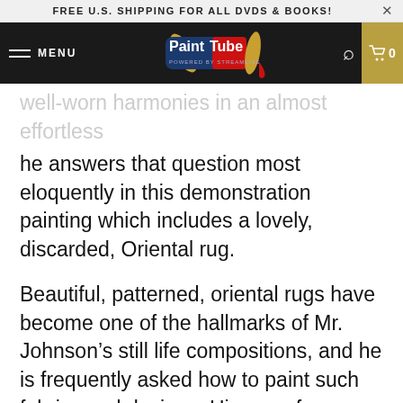FREE U.S. SHIPPING FOR ALL DVDS & BOOKS!
[Figure (logo): PaintTube logo with paint tube graphic on dark navbar with MENU label, search icon, and cart icon showing 0]
well-worn harmonies in an almost effortless style. Asked by many students how he does this, he answers that question most eloquently in this demonstration painting which includes a lovely, discarded, Oriental rug.
Beautiful, patterned, oriental rugs have become one of the hallmarks of Mr. Johnson's still life compositions, and he is frequently asked how to paint such fabrics and designs. His use of layering painting colors in thin applications, combined with delicate strokes of the brush and palette knife make the process seem effortless.